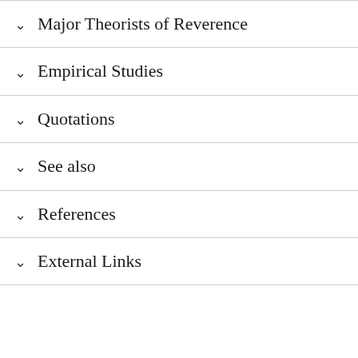Major Theorists of Reverence
Empirical Studies
Quotations
See also
References
External Links